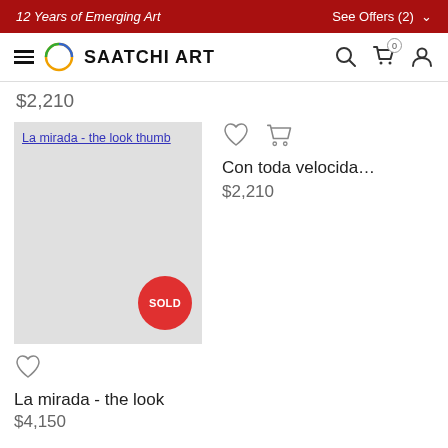12 Years of Emerging Art   See Offers (2)
[Figure (screenshot): Saatchi Art navigation bar with hamburger menu, logo circle, SAATCHI ART text, search icon, cart icon, user icon]
$2,210
[Figure (photo): La mirada - the look thumbnail image placeholder with SOLD badge overlay]
Con toda velocida…
$2,210
La mirada - the look
$4,150